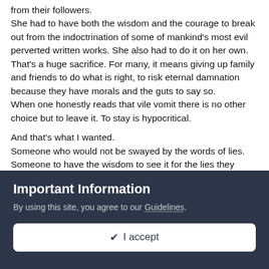from their followers. She had to have both the wisdom and the courage to break out from the indoctrination of some of mankind's most evil perverted written works. She also had to do it on her own. That's a huge sacrifice. For many, it means giving up family and friends to do what is right, to risk eternal damnation because they have morals and the guts to say so. When one honestly reads that vile vomit there is no other choice but to leave it. To stay is hypocritical.

And that's what I wanted. Someone who would not be swayed by the words of lies. Someone to have the wisdom to see it for the lies they really are and the courage to risk all and go against it because its the right thing to do. To risk the love of their family and friends and risk eternal
Important Information
By using this site, you agree to our Guidelines.
✔ I accept